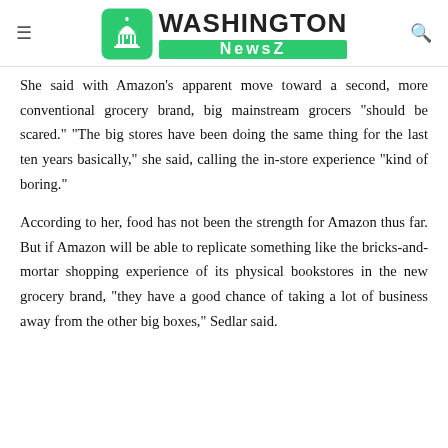Washington NewsZ
She said with Amazon’s apparent move toward a second, more conventional grocery brand, big mainstream grocers “should be scared.” “The big stores have been doing the same thing for the last ten years basically,” she said, calling the in-store experience “kind of boring.”
According to her, food has not been the strength for Amazon thus far. But if Amazon will be able to replicate something like the bricks-and-mortar shopping experience of its physical bookstores in the new grocery brand, “they have a good chance of taking a lot of business away from the other big boxes,” Sedlar said.